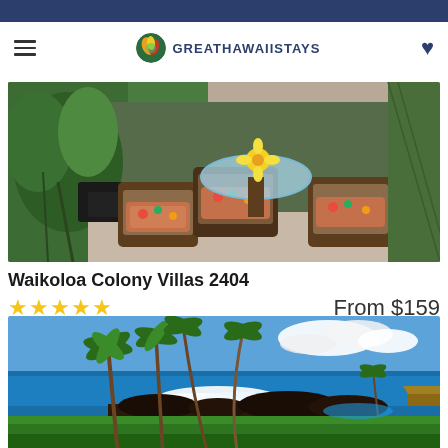GreatHawaiiStays
[Figure (photo): Patio area with wicker chairs with floral cushions, glass table with flower decoration, surrounded by tropical plants]
Waikoloa Colony Villas 2404
★★★★★   From $159
[Figure (photo): Aerial view of Hawaiian coastline with palm trees, lush green grass, crashing waves, ocean, and clouds in blue sky]